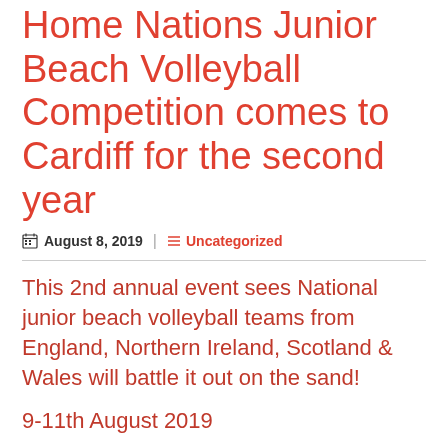Home Nations Junior Beach Volleyball Competition comes to Cardiff for the second year
August 8, 2019 | Uncategorized
This 2nd annual event sees National junior beach volleyball teams from England, Northern Ireland, Scotland & Wales will battle it out on the sand!
9-11th August 2019
Cardiff Beach Volleyball